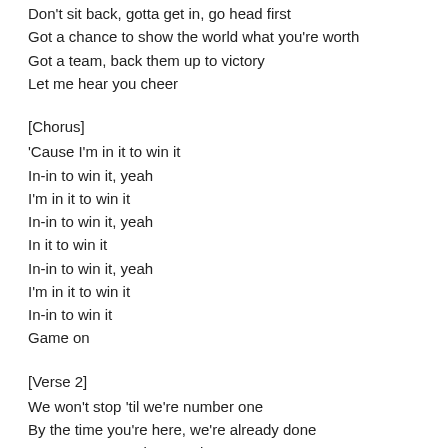Don't sit back, gotta get in, go head first
Got a chance to show the world what you're worth
Got a team, back them up to victory
Let me hear you cheer
[Chorus]
'Cause I'm in it to win it
In-in to win it, yeah
I'm in it to win it
In-in to win it, yeah
In it to win it
In-in to win it, yeah
I'm in it to win it
In-in to win it
Game on
[Verse 2]
We won't stop 'til we're number one
By the time you're here, we're already done
Don't see us coming, you better run